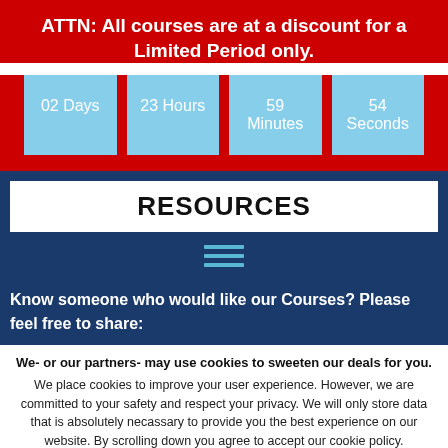ATTN: All courses are at a discount for a Limited Period only.
02 Days | 23 Hours | 59 Minutes | 54 Seconds
RESOURCES
Know someone who would like our Courses? Please feel free to share:
We- or our partners- may use cookies to sweeten our deals for you.
We place cookies to improve your user experience. However, we are committed to your safety and respect your privacy. We will only store data that is absolutely necassary to provide you the best experience on our website. By scrolling down you agree to accept our cookie policy.